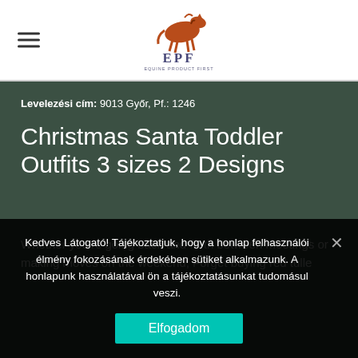[Figure (logo): EPF (Equine Product First) logo with a stylized horse figure in reddish-brown above the letters EPF and a tagline below]
Levelezési cím: 9013 Győr, Pf.: 1246
Christmas Santa Toddler Outfits 3 sizes 2 Designs
Whether you're going back and forth between meetings or making moves on the weekend, Forget buying red tulle
Kedves Látogató! Tájékoztatjuk, hogy a honlap felhasználói élmény fokozásának érdekében sütiket alkalmazunk. A honlapunk használatával ön a tájékoztatásunkat tudomásul veszi.
Elfogadom